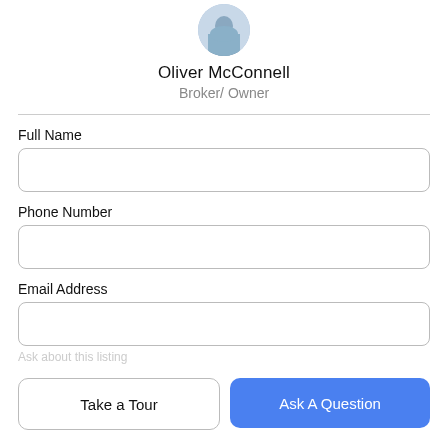[Figure (photo): Circular profile photo of agent Oliver McConnell]
Oliver McConnell
Broker/ Owner
Full Name
Phone Number
Email Address
Take a Tour
Ask A Question